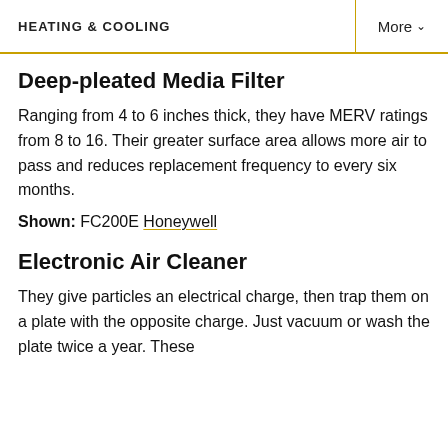HEATING & COOLING | More
Deep-pleated Media Filter
Ranging from 4 to 6 inches thick, they have MERV ratings from 8 to 16. Their greater surface area allows more air to pass and reduces replacement frequency to every six months.
Shown: FC200E Honeywell
Electronic Air Cleaner
They give particles an electrical charge, then trap them on a plate with the opposite charge. Just vacuum or wash the plate twice a year. These